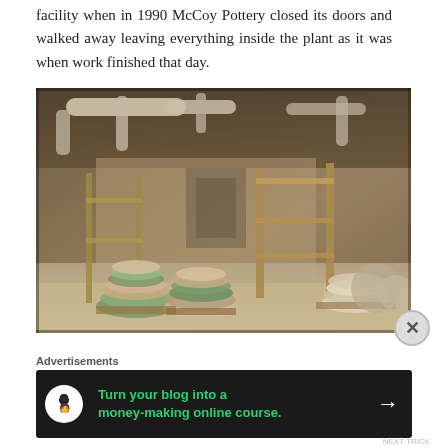facility when in 1990 McCoy Pottery closed its doors and walked away leaving everything inside the plant as it was when work finished that day.
[Figure (photo): Interior photograph of the abandoned McCoy Pottery factory showing stacks of pottery bowls and items on pallets on the floor, industrial machinery, metal shelving racks, overhead pipes and ductwork, all covered in dust and debris as left when the factory closed.]
Advertisements
[Figure (other): Advertisement banner with dark background showing a tree/person icon in a white circle on the left, green text reading 'Turn your blog into a money-making online course.' in the center, and a white arrow pointing right on the right.]